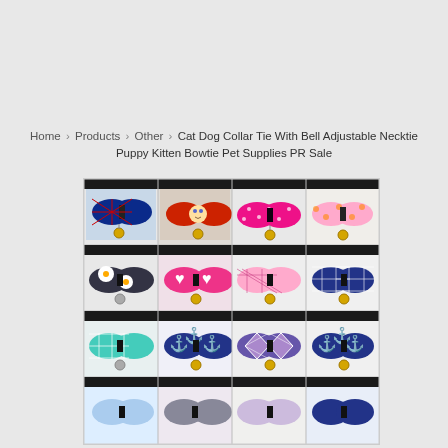Home › Products › Other › Cat Dog Collar Tie With Bell Adjustable Necktie Puppy Kitten Bowtie Pet Supplies PR Sale
[Figure (photo): Grid of 12+ colorful cat/dog bowtie collars with bells in various patterns: British flag, cartoon cat, pink polka dot, pink floral, floral white, pink hearts, pink plaid, navy blue plaid, teal plaid, navy anchors, argyle, navy anchor pattern, and more in bottom row]